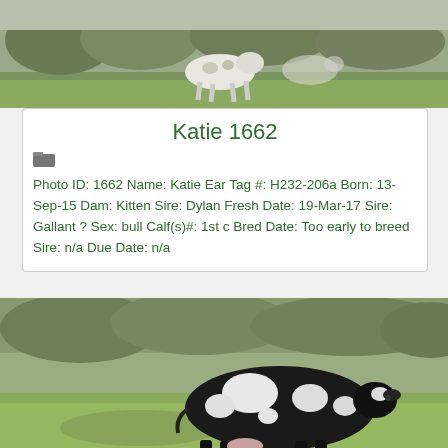[Figure (photo): Outdoor photo of cattle (calf/young cow) walking on grass field with trees in background]
Katie 1662
[Figure (photo): Small folder/tag icon]
Photo ID: 1662 Name: Katie Ear Tag #: H232-206a Born: 13-Sep-15 Dam: Kitten Sire: Dylan Fresh Date: 19-Mar-17 Sire: Gallant ? Sex: bull Calf(s)#: 1st c Bred Date: Too early to breed Sire: n/a Due Date: n/a
[Figure (photo): Outdoor photo of a black and white spotted cow standing in a grass field with trees in background]